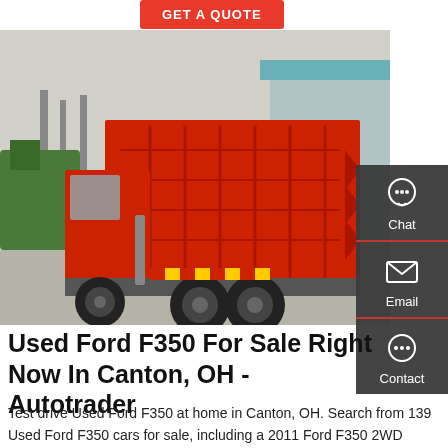[Figure (other): Red 'GET A QUOTE' button at top left]
[Figure (photo): A large red dump truck photographed from the rear-left angle, parked in a yard with a building in the background.]
[Figure (other): Dark sidebar with Chat, Email, and Contact icons and labels]
Used Ford F350 For Sale Right Now In Canton, OH - Autotrader
Test drive Used Ford F350 at home in Canton, OH. Search from 139 Used Ford F350 cars for sale, including a 2011 Ford F350 2WD Regular Cab DRW